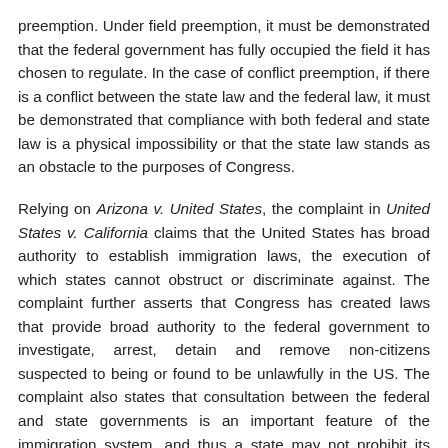preemption. Under field preemption, it must be demonstrated that the federal government has fully occupied the field it has chosen to regulate. In the case of conflict preemption, if there is a conflict between the state law and the federal law, it must be demonstrated that compliance with both federal and state law is a physical impossibility or that the state law stands as an obstacle to the purposes of Congress.
Relying on Arizona v. United States, the complaint in United States v. California claims that the United States has broad authority to establish immigration laws, the execution of which states cannot obstruct or discriminate against. The complaint further asserts that Congress has created laws that provide broad authority to the federal government to investigate, arrest, detain and remove non-citizens suspected to being or found to be unlawfully in the US. The complaint also states that consultation between the federal and state governments is an important feature of the immigration system, and thus a state may not prohibit its official from providing information to the DHS regarding the citizenship or immigration status of an individual. Finally, the complaint notes that Congress has enacted a comprehensive framework for